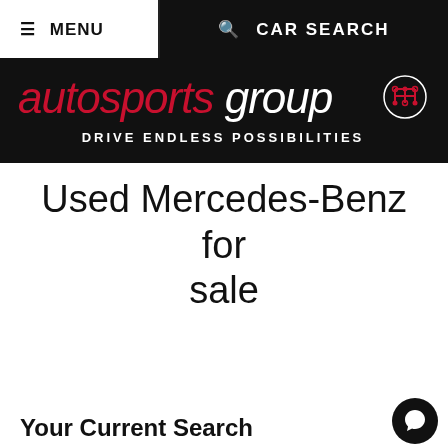≡ MENU   🔍 CAR SEARCH
[Figure (logo): Autosports Group logo with gear icon and tagline DRIVE ENDLESS POSSIBILITIES on black background]
Used Mercedes-Benz for sale
Your Current Search